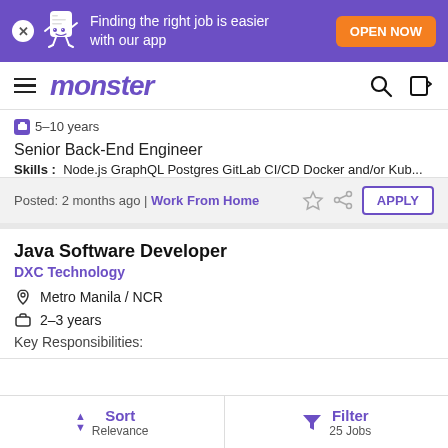[Figure (screenshot): Purple banner with Monster mascot and 'OPEN NOW' button. Text: Finding the right job is easier with our app]
monster
5–10 years
Senior Back-End Engineer
Skills: Node.js GraphQL Postgres GitLab CI/CD Docker and/or Kub...
Posted: 2 months ago | Work From Home
Java Software Developer
DXC Technology
Metro Manila / NCR
2–3 years
Key Responsibilities:
Sort Relevance | Filter 25 Jobs